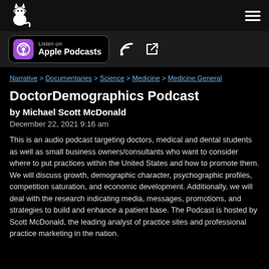[Figure (logo): Cat with headphones logo and hamburger menu icon on dark nav bar]
[Figure (screenshot): Listen on Apple Podcasts badge with purple podcast icon, RSS feed icon, and external link icon on dark banner]
Narrative > Documentaries > Science > Medicine > Medicine General
DoctorDemographics Podcast
by Michael Scott McDonald
December 22, 2021 9:16 am
This is an audio podcast targeting doctors, medical and dental students as well as small business owners/consultants who want to consider where to put practices within the United States and how to promote them. We will discuss growth, demographic character, psychographic profiles, competition saturation, and economic development. Additionally, we will deal with the research indicating media, messages, promotions, and strategies to build and enhance a patient base. The Podcast is hosted by Scott McDonald, the leading analyst of practice sites and professional practice marketing in the nation.